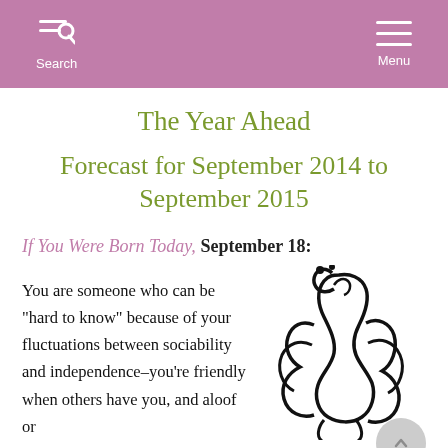Search  Menu
The Year Ahead
Forecast for September 2014 to September 2015
If You Were Born Today, September 18:
You are someone who can be “hard to know” because of your fluctuations between sociability and independence–you’re friendly when others have you, and aloof or
[Figure (illustration): Black and white line art illustration of a Virgo zodiac symbol showing a stylized figure]